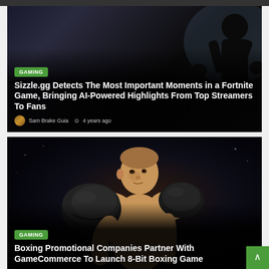[Figure (photo): Dark silhouette of a person against a blue-tinted dark background, with gaming article overlay]
GAMING
Sizzle.gg Detects The Most Important Moments in a Fortnite Game, Bringing AI-Powered Highlights From Top Streamers To Fans
Sam Brake Guia  ⊙  4 years ago
[Figure (photo): Male boxer in fighting stance wearing black boxing gloves against a dark background, with gaming article overlay]
GAMING
Boxing Promotional Companies Partner With GameCommerce To Launch 8-Bit Boxing Game